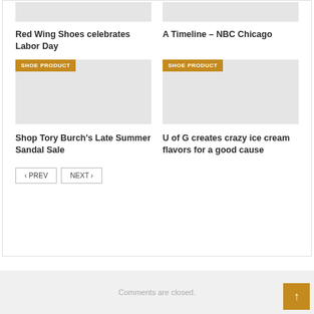[Figure (photo): Two gray placeholder image thumbnails at the top of the card area]
Red Wing Shoes celebrates Labor Day
A Timeline – NBC Chicago
[Figure (photo): Gray placeholder image with SHOE PRODUCT badge — Tory Burch article]
[Figure (photo): Gray placeholder image with SHOE PRODUCT badge — U of G article]
Shop Tory Burch's Late Summer Sandal Sale
U of G creates crazy ice cream flavors for a good cause
< PREV   NEXT >
Comments are closed.